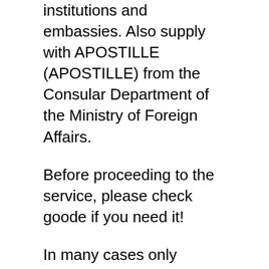institutions and embassies. Also supply with APOSTILLE (APOSTILLE) from the Consular Department of the Ministry of Foreign Affairs.
Before proceeding to the service, please check goode if you need it!
In many cases only translation from a licensed translation agency is required. The translation of our form with signature and stamp is an official document. Every translator making such a translation has signed a declaration of the correctness of his / her translation.